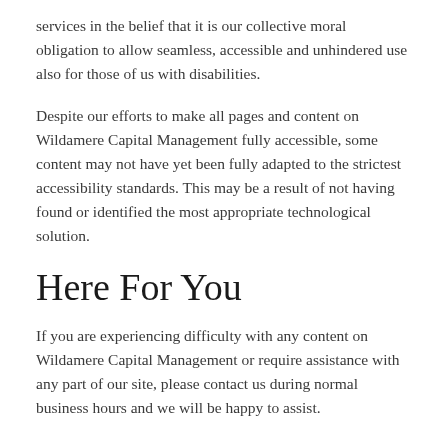services in the belief that it is our collective moral obligation to allow seamless, accessible and unhindered use also for those of us with disabilities.
Despite our efforts to make all pages and content on Wildamere Capital Management fully accessible, some content may not have yet been fully adapted to the strictest accessibility standards. This may be a result of not having found or identified the most appropriate technological solution.
Here For You
If you are experiencing difficulty with any content on Wildamere Capital Management or require assistance with any part of our site, please contact us during normal business hours and we will be happy to assist.